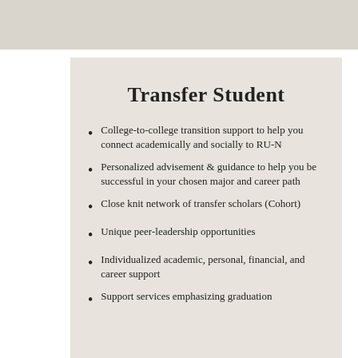Transfer Student
College-to-college transition support to help you connect academically and socially to RU-N
Personalized advisement & guidance to help you be successful in your chosen major and career path
Close knit network of transfer scholars (Cohort)
Unique peer-leadership opportunities
Individualized academic, personal, financial, and career support
Support services emphasizing graduation